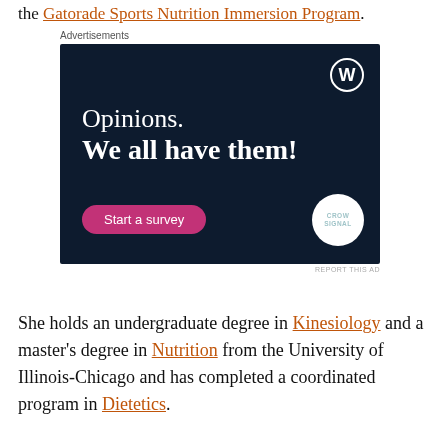the Gatorade Sports Nutrition Immersion Program.
[Figure (other): Advertisement banner: dark navy background with WordPress logo, text 'Opinions. We all have them!', a pink 'Start a survey' button, and Crowdsignal logo.]
REPORT THIS AD
She holds an undergraduate degree in Kinesiology and a master's degree in Nutrition from the University of Illinois-Chicago and has completed a coordinated program in Dietetics.